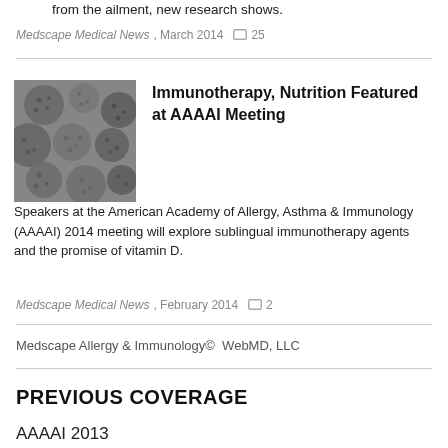from the ailment, new research shows.
Medscape Medical News, March 2014  ☐ 25
Immunotherapy, Nutrition Featured at AAAAI Meeting
[Figure (photo): Grayscale electron microscope image of pollen grains, spherical with textured surfaces]
Speakers at the American Academy of Allergy, Asthma & Immunology (AAAAI) 2014 meeting will explore sublingual immunotherapy agents and the promise of vitamin D.
Medscape Medical News, February 2014  ☐ 2
Medscape Allergy & Immunology©  WebMD, LLC
PREVIOUS COVERAGE
AAAAI 2013